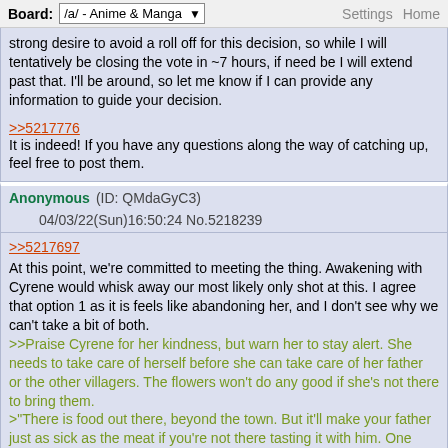Board: /a/ - Anime & Manga   Settings Home
strong desire to avoid a roll off for this decision, so while I will tentatively be closing the vote in ~7 hours, if need be I will extend past that. I'll be around, so let me know if I can provide any information to guide your decision.
>>5217776
It is indeed! If you have any questions along the way of catching up, feel free to post them.
Anonymous (ID: QMdaGyC3)   04/03/22(Sun)16:50:24 No.5218239
>>5217697
At this point, we're committed to meeting the thing. Awakening with Cyrene would whisk away our most likely only shot at this. I agree that option 1 as it is feels like abandoning her, and I don't see why we can't take a bit of both.
>>Praise Cyrene for her kindness, but warn her to stay alert. She needs to take care of herself before she can take care of her father or the other villagers. The flowers won't do any good if she's not there to bring them.
>"There is food out there, beyond the town. But it'll make your father just as sick as the meat if you're not there tasting it with him. One way or another, this is coming to an end soon. I'll make sure of it. It's a promise."
>Go forth toward your meeting.

We can talk to her before we leave, convince her without waking